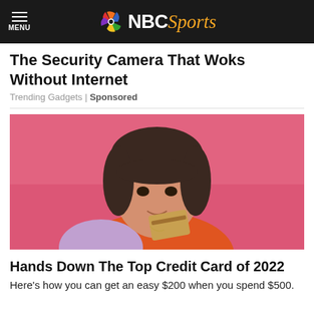NBC Sports
The Security Camera That Woks Without Internet
Trending Gadgets | Sponsored
[Figure (photo): Young woman with bangs holding a credit card near her face against a pink background, wearing an orange top]
Hands Down The Top Credit Card of 2022
Here's how you can get an easy $200 when you spend $500.